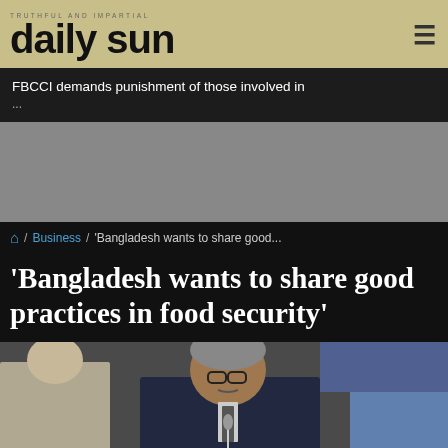daily sun
FBCCI demands punishment of those involved in...
[Figure (other): Grey advertisement/placeholder block]
🏠 / Business / 'Bangladesh wants to share good...
'Bangladesh wants to share good practices in food security'
[Figure (photo): A man in a dark suit and glasses seated at a conference table, with other suited individuals visible in the background]